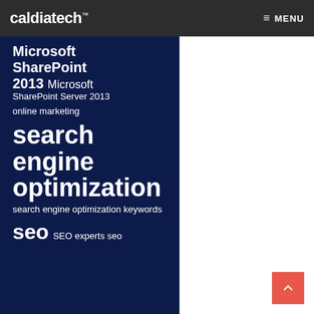caldiatech™  MENU
Microsoft SharePoint 2013 Microsoft SharePoint Server 2013
online marketing
search engine optimization
search engine optimization keywords
seo SEO experts seo